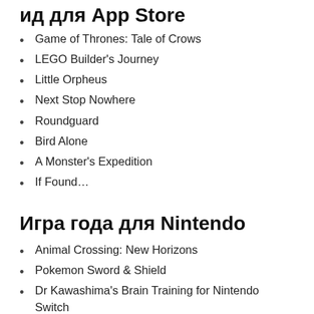Игра года для Nintendo (partial top)
Game of Thrones: Tale of Crows
LEGO Builder's Journey
Little Orpheus
Next Stop Nowhere
Roundguard
Bird Alone
A Monster's Expedition
If Found...
Игра года для Nintendo
Animal Crossing: New Horizons
Pokemon Sword & Shield
Dr Kawashima's Brain Training for Nintendo Switch
Super Mario 3D All-Stars